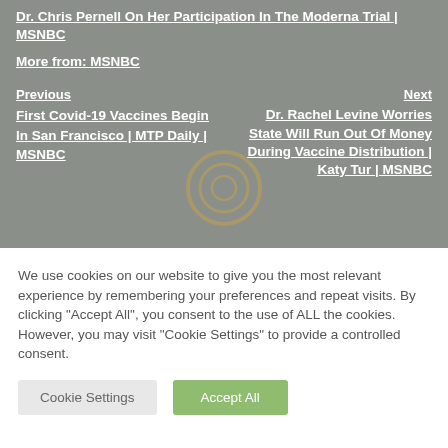Dr. Chris Pernell On Her Participation In The Moderna Trial | MSNBC
More from: MSNBC
Previous
First Covid-19 Vaccines Begin In San Francisco | MTP Daily | MSNBC
Next
Dr. Rachel Levine Worries State Will Run Out Of Money During Vaccine Distribution | Katy Tur | MSNBC
We use cookies on our website to give you the most relevant experience by remembering your preferences and repeat visits. By clicking "Accept All", you consent to the use of ALL the cookies. However, you may visit "Cookie Settings" to provide a controlled consent.